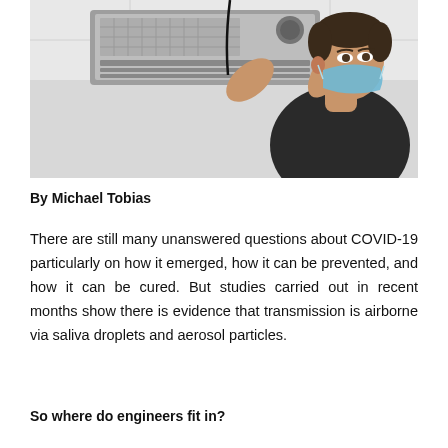[Figure (photo): A man wearing a blue face mask reaches up to service or inspect a ceiling-mounted HVAC unit, appearing to work on ventilation equipment.]
By Michael Tobias
There are still many unanswered questions about COVID-19 particularly on how it emerged, how it can be prevented, and how it can be cured. But studies carried out in recent months show there is evidence that transmission is airborne via saliva droplets and aerosol particles.
So where do engineers fit in?